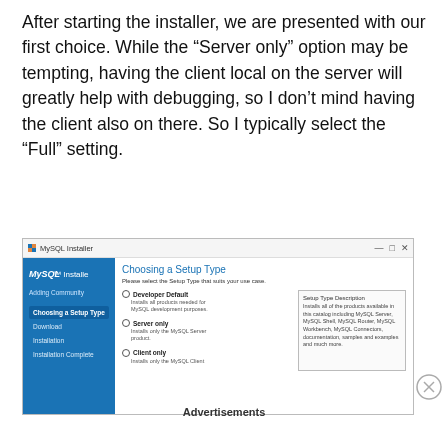After starting the installer, we are presented with our first choice. While the “Server only” option may be tempting, having the client local on the server will greatly help with debugging, so I don’t mind having the client also on there. So I typically select the “Full” setting.
[Figure (screenshot): MySQL Installer window showing 'Choosing a Setup Type' screen with sidebar navigation (Choosing a Setup Type, Download, Installation, Installation Complete) and options: Developer Default, Server only, Client only. Setup Type Description panel on right describes Full option.]
Advertisements